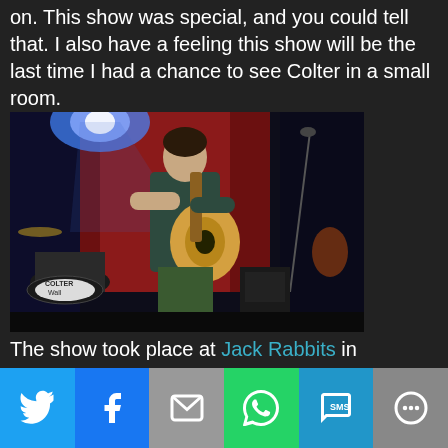on. This show was special, and you could tell that. I also have a feeling this show will be the last time I had a chance to see Colter in a small room.
[Figure (photo): Concert photo of a guitarist performing on stage with blue stage lighting, drums visible in background with 'Colter Wall' bass drum head visible, red curtain backdrop]
The show took place at Jack Rabbits in Jacksonville, FL which is by definition a hole in the wall. The front is very non-descriptive with the only markings being the name painted on the door in black spray paint. The capacity is only around 300